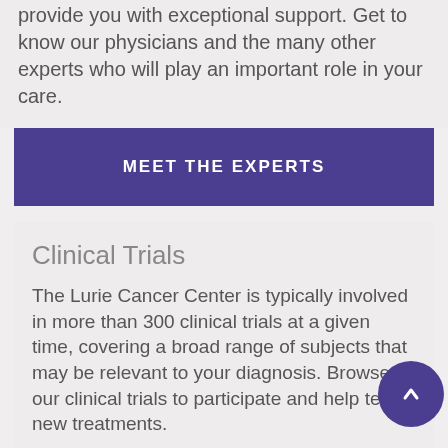provide you with exceptional support. Get to know our physicians and the many other experts who will play an important role in your care.
MEET THE EXPERTS
Clinical Trials
The Lurie Cancer Center is typically involved in more than 300 clinical trials at a given time, covering a broad range of subjects that may be relevant to your diagnosis. Browse our clinical trials to participate and help test new treatments.